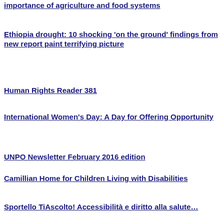importance of agriculture and food systems
Ethiopia drought: 10 shocking 'on the ground' findings from new report paint terrifying picture
Human Rights Reader 381
International Women's Day: A Day for Offering Opportunity
UNPO Newsletter February 2016 edition
Camillian Home for Children Living with Disabilities
Sportello TiAscolto! Accessibilità e diritto alla salute…